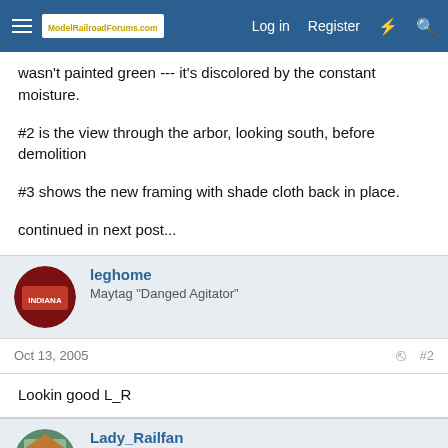ModelRailroadForums.com — Log in  Register
wasn't painted green --- it's discolored by the constant moisture.
#2 is the view through the arbor, looking south, before demolition
#3 shows the new framing with shade cloth back in place.
continued in next post...
leghome
Maytag "Danged Agitator"
Oct 13, 2005  #2
Lookin good L_R
Lady_Railfan
House Mother, Cheerleader